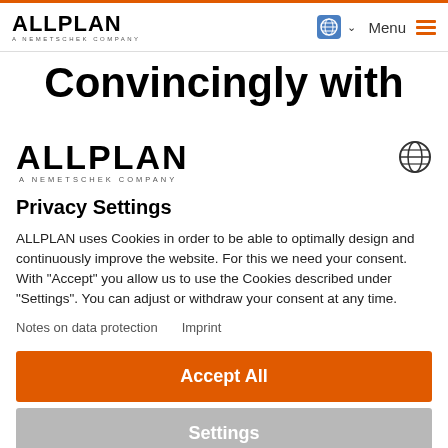ALLPLAN A NEMETSCHEK COMPANY | Menu
Convincingly with
[Figure (logo): ALLPLAN A NEMETSCHEK COMPANY logo]
Privacy Settings
ALLPLAN uses Cookies in order to be able to optimally design and continuously improve the website. For this we need your consent. With "Accept" you allow us to use the Cookies described under "Settings". You can adjust or withdraw your consent at any time.
Notes on data protection   Imprint
Accept All
Settings